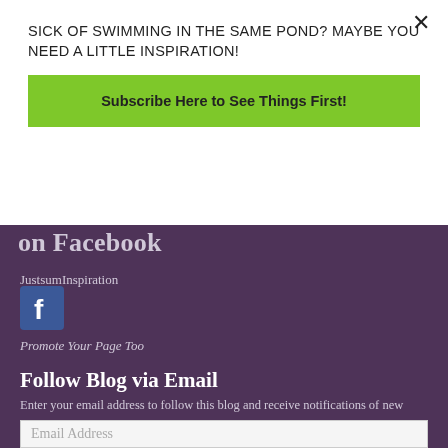SICK OF SWIMMING IN THE SAME POND? MAYBE YOU NEED A LITTLE INSPIRATION!
Subscribe Here to See Things First!
on Facebook
JustsumInspiration
[Figure (logo): Facebook logo icon — blue square with white 'f']
Promote Your Page Too
Follow Blog via Email
Enter your email address to follow this blog and receive notifications of new posts by email.
Email Address